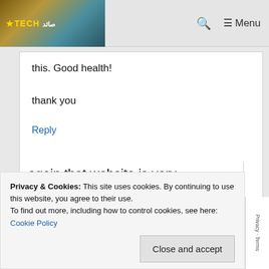TECH Menu
this. Good health!
thank you
Reply
again that website is very important for businesses. very insightful post
Privacy & Cookies: This site uses cookies. By continuing to use this website, you agree to their use.
To find out more, including how to control cookies, see here:
Cookie Policy
Close and accept
Privacy · Terms